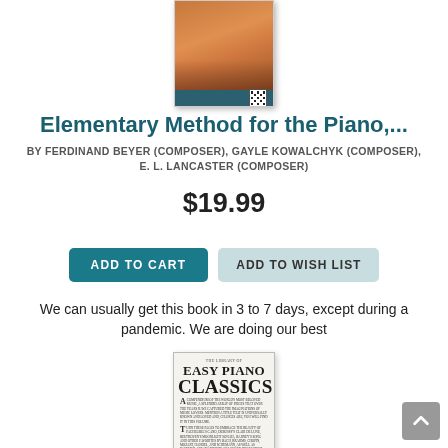[Figure (photo): Book cover of Elementary Method for the Piano, partially visible at the top of the page, with orange/brown tones and a teal bottom bar with a small QR code]
Elementary Method for the Piano,...
BY FERDINAND BEYER (COMPOSER), GAYLE KOWALCHYK (COMPOSER), E. L. LANCASTER (COMPOSER)
$19.99
ADD TO CART
ADD TO WISH LIST
We can usually get this book in 3 to 7 days, except during a pandemic. We are doing our best
[Figure (photo): Book cover of The Library of Easy Piano Classics, showing the title in large serif text with decorative drop capitals and small body text describing the contents]